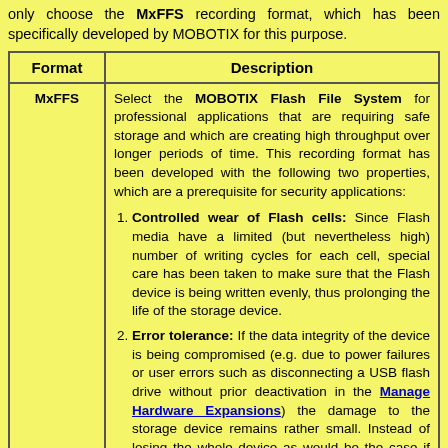only choose the MxFFS recording format, which has been specifically developed by MOBOTIX for this purpose.
| Format | Description |
| --- | --- |
| MxFFS | Select the MOBOTIX Flash File System for professional applications that are requiring safe storage and which are creating high throughput over longer periods of time. This recording format has been developed with the following two properties, which are a prerequisite for security applications:
1. Controlled wear of Flash cells: Since Flash media have a limited (but nevertheless high) number of writing cycles for each cell, special care has been taken to make sure that the Flash device is being written evenly, thus prolonging the life of the storage device.
2. Error tolerance: If the data integrity of the device is being compromised (e.g. due to power failures or user errors such as disconnecting a USB flash drive without prior deactivation in the Manage Hardware Expansions) the damage to the storage device remains rather small. Instead of losing the whole device as would be the case if other file systems would have been used, MxFFS will only loose 4 M:B per |